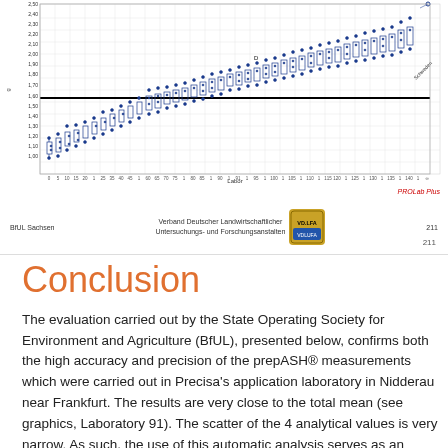[Figure (continuous-plot): Box-and-whisker plot showing measurement data across multiple laboratories, with blue data points clustered around a horizontal black mean line. Y-axis ranges approximately 1.00 to 2.50. X-axis labeled 'Labor' (Laboratory). Data points scattered increasingly above the mean towards the right side.]
BfUL Sachsen   Verband Deutscher Landwirtschaftlicher Untersuchungs- und Forschungsanstalten   VD.LFA   211
Conclusion
The evaluation carried out by the State Operating Society for Environment and Agriculture (BfUL), presented below, confirms both the high accuracy and precision of the prepASH® measurements which were carried out in Precisa's application laboratory in Nidderau near Frankfurt. The results are very close to the total mean (see graphics, Laboratory 91). The scatter of the 4 analytical values is very narrow. As such, the use of this automatic analysis serves as an optimal alternative for non-automated methods. All measurements conform to required standards. Please contact us for any additional information you need.